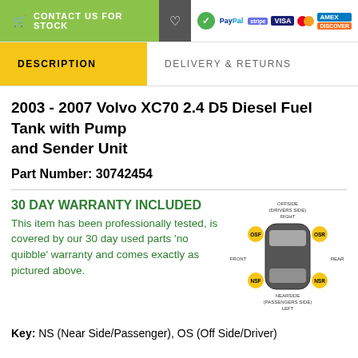CONTACT US FOR STOCK
DESCRIPTION | DELIVERY & RETURNS
2003 - 2007 Volvo XC70 2.4 D5 Diesel Fuel Tank with Pump and Sender Unit
Part Number: 30742454
30 DAY WARRANTY INCLUDED
This item has been professionally tested, is covered by our 30 day used parts 'no quibble' warranty and comes exactly as pictured above.
[Figure (illustration): Car diagram showing top-down view with labeled positions: OSF (front-left, yellow circle), OSR (rear-left, yellow circle), NSF (front-right, yellow circle), NSR (rear-right, yellow circle), OFFSIDE (DRIVERS SIDE) RIGHT at top, NEARSIDE (PASSENGERS SIDE) LEFT at bottom, FRONT on left, REAR on right.]
Key: NS (Near Side/Passenger), OS (Off Side/Driver)